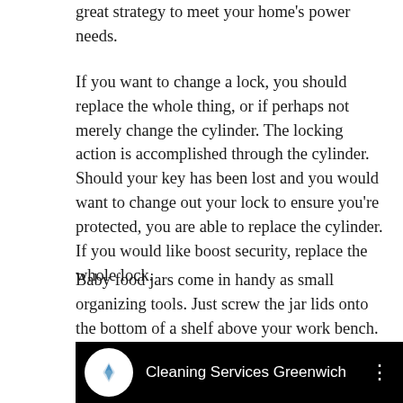great strategy to meet your home's power needs.
If you want to change a lock, you should replace the whole thing, or if perhaps not merely change the cylinder. The locking action is accomplished through the cylinder. Should your key has been lost and you would want to change out your lock to ensure you're protected, you are able to replace the cylinder. If you would like boost security, replace the whole lock.
Baby food jars come in handy as small organizing tools. Just screw the jar lids onto the bottom of a shelf above your work bench. You can add little things that you use regularly to the jars, like nails or beads.
[Figure (screenshot): Black banner showing a circular white logo with a blue graphic on the left and the text 'Cleaning Services Greenwich' in white, with a vertical dots menu icon on the right.]